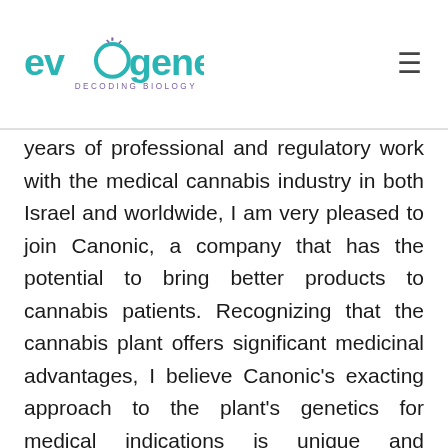evogene DECODING BIOLOGY
years of professional and regulatory work with the medical cannabis industry in both Israel and worldwide, I am very pleased to join Canonic, a company that has the potential to bring better products to cannabis patients. Recognizing that the cannabis plant offers significant medicinal advantages, I believe Canonic’s exacting approach to the plant’s genetics for medical indications is unique and important to the field as a whole. I look forward to contributing my experience in the field of health and medicines in